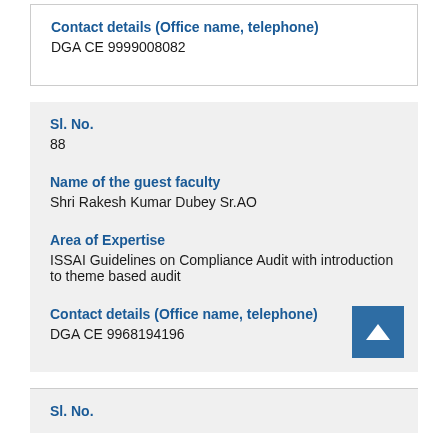Contact details (Office name, telephone)
DGA CE 9999008082
Sl. No.
88
Name of the guest faculty
Shri Rakesh Kumar Dubey Sr.AO
Area of Expertise
ISSAI Guidelines on Compliance Audit with introduction to theme based audit
Contact details (Office name, telephone)
DGA CE 9968194196
Sl. No.